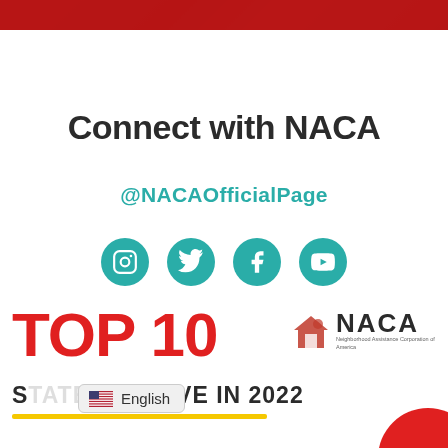[Figure (photo): Cropped photo strip at top showing people in red clothing]
Connect with NACA
@NACAOfficialPage
[Figure (infographic): Four social media icon circles (Instagram, Twitter, Facebook, YouTube) in teal]
[Figure (infographic): TOP 10 banner in red text with NACA logo, subtitle text 'STATES TO LIVE IN 2022' with yellow underline, English language selector overlay]
STATES TO LIVE IN 2022